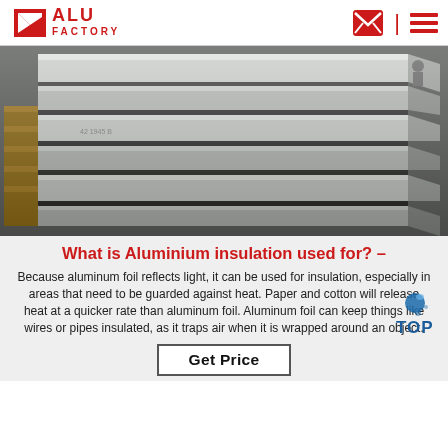[Figure (logo): ALU FACTORY logo with red triangle/chevron icon and red text 'ALU FACTORY']
[Figure (photo): Stacked aluminium plates/sheets in a warehouse setting, silver metallic surfaces visible]
What is Aluminium insulation used for? –
Because aluminum foil reflects light, it can be used for insulation, especially in areas that need to be guarded against heat. Paper and cotton will release heat at a quicker rate than aluminum foil. Aluminum foil can keep things like wires or pipes insulated, as it traps air when it is wrapped around an object.
[Figure (other): TOP back-to-top button with blue water drop icon and bold blue text 'TOP']